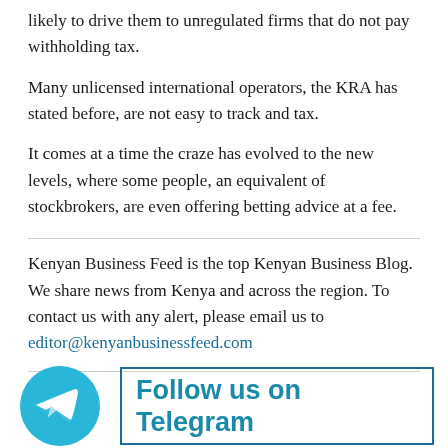likely to drive them to unregulated firms that do not pay withholding tax.
Many unlicensed international operators, the KRA has stated before, are not easy to track and tax.
It comes at a time the craze has evolved to the new levels, where some people, an equivalent of stockbrokers, are even offering betting advice at a fee.
Kenyan Business Feed is the top Kenyan Business Blog. We share news from Kenya and across the region. To contact us with any alert, please email us to editor@kenyanbusinessfeed.com
[Figure (infographic): Telegram follow us banner with teal Telegram logo icon on left and 'Follow us on Telegram' text in bold teal inside a bordered box on the right]